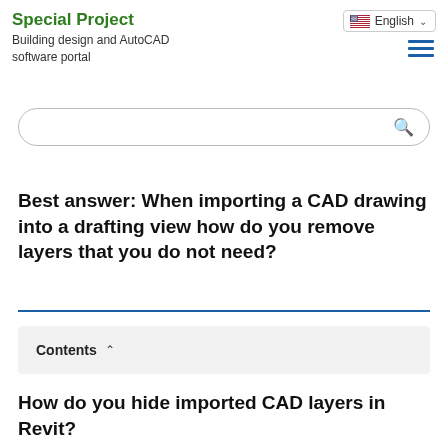Special Project
Building design and AutoCAD software portal
[Figure (screenshot): Language selector dropdown showing English with US flag, and hamburger menu icon with three blue horizontal lines]
Search box
Best answer: When importing a CAD drawing into a drafting view how do you remove layers that you do not need?
Contents
How do you hide imported CAD layers in Revit?